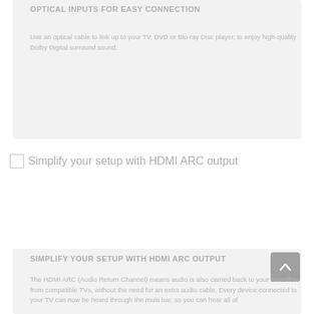OPTICAL INPUTS FOR EASY CONNECTION
Use an optical cable to link up to your TV, DVD or Blu-ray Disc player, to enjoy high-quality Dolby Digital surround sound.
Simplify your setup with HDMI ARC output
SIMPLIFY YOUR SETUP WITH HDMI ARC OUTPUT
The HDMI ARC (Audio Return Channel) means audio is also carried back to your soundbar from compatible TVs, without the need for an extra audio cable. Every device connected to your TV can now be heard through the multi bar, so you can hear all of